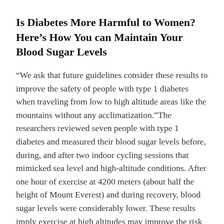Is Diabetes More Harmful to Women? Here’s How You can Maintain Your Blood Sugar Levels
“We ask that future guidelines consider these results to improve the safety of people with type 1 diabetes when traveling from low to high altitude areas like the mountains without any acclimatization.”The researchers reviewed seven people with type 1 diabetes and measured their blood sugar levels before, during, and after two indoor cycling sessions that mimicked sea level and high-altitude conditions. After one hour of exercise at 4200 meters (about half the height of Mount Everest) and during recovery, blood sugar levels were considerably lower. These results imply exercise at high altitudes may improve the risk of hypoglycemia in individuals with